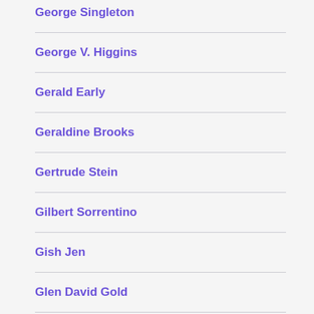George Singleton
George V. Higgins
Gerald Early
Geraldine Brooks
Gertrude Stein
Gilbert Sorrentino
Gish Jen
Glen David Gold
Glenn Beck